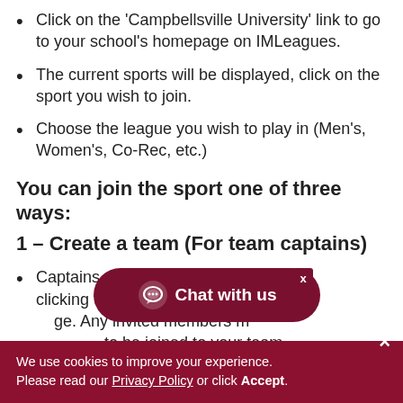Click on the ‘Campbellsville University’ link to go to your school’s homepage on IMLeagues.
The current sports will be displayed, click on the sport you wish to join.
Choose the league you wish to play in (Men’s, Women’s, Co-Rec, etc.)
You can join the sport one of three ways:
1 – Create a team (For team captains)
Captains can invite members to their team by clicking the “Invite Me”... page. Any invited members n... to be joined to your team.
[Figure (other): Chat with us button overlay in dark red/maroon color with chat bubble icon]
We use cookies to improve your experience. Please read our Privacy Policy or click Accept.